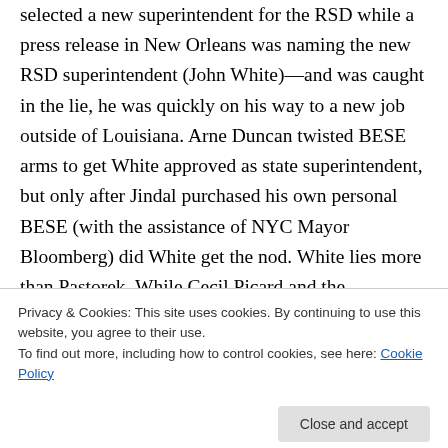selected a new superintendent for the RSD while a press release in New Orleans was naming the new RSD superintendent (John White)—and was caught in the lie, he was quickly on his way to a new job outside of Louisiana. Arne Duncan twisted BESE arms to get White approved as state superintendent, but only after Jindal purchased his own personal BESE (with the assistance of NYC Mayor Bloomberg) did White get the nod. White lies more than Pastorek. While Cecil Picard and the legislature may not
Privacy & Cookies: This site uses cookies. By continuing to use this website, you agree to their use.
To find out more, including how to control cookies, see here: Cookie Policy
underpinnings of public education. Keep this in